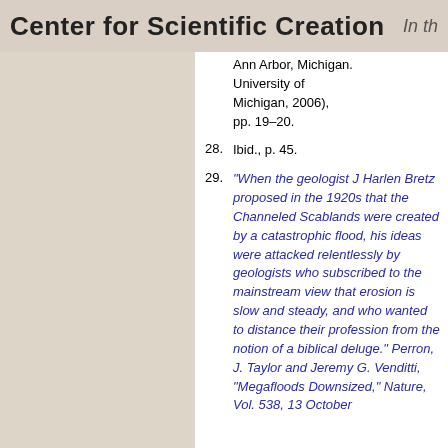Center for Scientific Creation   In th
Ann Arbor, Michigan. University of Michigan, 2006), pp. 19–20.
28. Ibid., p. 45.
29. "When the geologist J Harlen Bretz proposed in the 1920s that the Channeled Scablands were created by a catastrophic flood, his ideas were attacked relentlessly by geologists who subscribed to the mainstream view that erosion is slow and steady, and who wanted to distance their profession from the notion of a biblical deluge." Perron, J. Taylor and Jeremy G. Venditti, "Megafloods Downsized," Nature, Vol. 538, 13 October